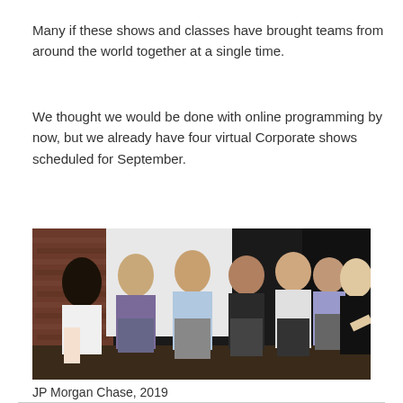Many if these shows and classes have brought teams from around the world together at a single time.
We thought we would be done with online programming by now, but we already have four virtual Corporate shows scheduled for September.
[Figure (photo): Group of people at a corporate event, standing in front of a brick wall and white background. Several people in business casual attire are interacting, with one person in a black t-shirt on the right side of the frame.]
JP Morgan Chase, 2019